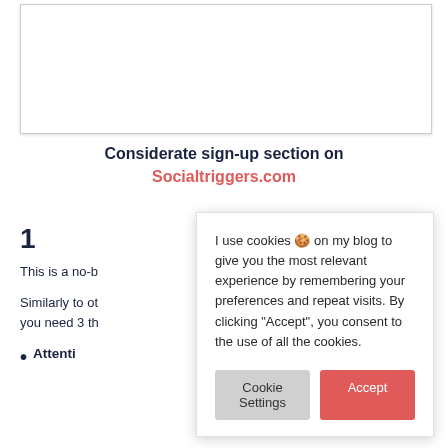[Figure (other): White rectangular image placeholder with light border and shadow at the top of the page]
Considerate sign-up section on
Socialtriggers.com
1
This is a no-b
Similarly to ot you need 3 th
Attenti
[Figure (screenshot): Cookie consent modal overlay with text: 'I use cookies 🍪 on my blog to give you the most relevant experience by remembering your preferences and repeat visits. By clicking "Accept", you consent to the use of all the cookies.' and two buttons: 'Cookie Settings' and 'Accept']